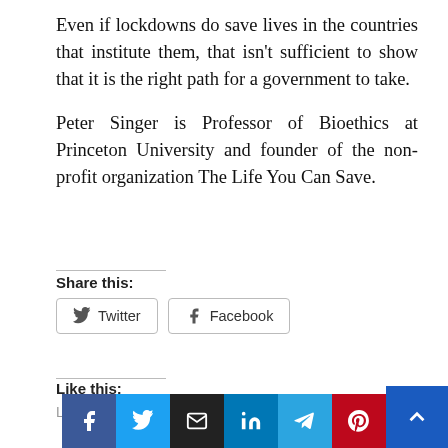Even if lockdowns do save lives in the countries that institute them, that isn't sufficient to show that it is the right path for a government to take.
Peter Singer is Professor of Bioethics at Princeton University and founder of the non-profit organization The Life You Can Save.
Share this:
Twitter  Facebook
Like this:
Loading...